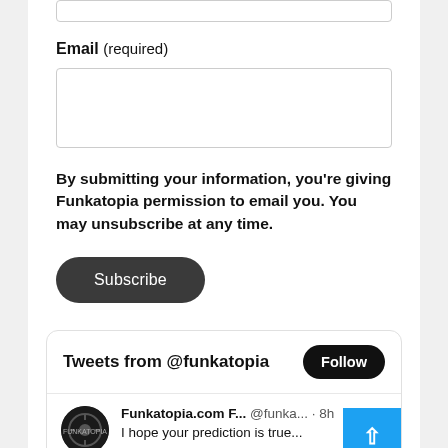[Input field - top, partial]
Email (required)
[Email input field]
By submitting your information, you're giving Funkatopia permission to email you. You may unsubscribe at any time.
Subscribe
Tweets from @funkatopia
Follow
Funkatopia.com F... @funka... · 8h
I hope your prediction is true...